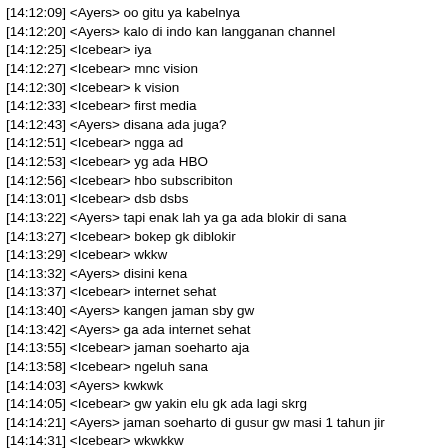[14:12:09] <Ayers> oo gitu ya kabelnya
[14:12:20] <Ayers> kalo di indo kan langganan channel
[14:12:25] <Icebear> iya
[14:12:27] <Icebear> mnc vision
[14:12:30] <Icebear> k vision
[14:12:33] <Icebear> first media
[14:12:43] <Ayers> disana ada juga?
[14:12:51] <Icebear> ngga ad
[14:12:53] <Icebear> yg ada HBO
[14:12:56] <Icebear> hbo subscribiton
[14:13:01] <Icebear> dsb dsbs
[14:13:22] <Ayers> tapi enak lah ya ga ada blokir di sana
[14:13:27] <Icebear> bokep gk diblokir
[14:13:29] <Icebear> wkkw
[14:13:32] <Ayers> disini kena
[14:13:37] <Icebear> internet sehat
[14:13:40] <Ayers> kangen jaman sby gw
[14:13:42] <Ayers> ga ada internet sehat
[14:13:55] <Icebear> jaman soeharto aja
[14:13:58] <Icebear> ngeluh sana
[14:14:03] <Ayers> kwkwk
[14:14:05] <Icebear> gw yakin elu gk ada lagi skrg
[14:14:21] <Ayers> jaman soeharto di gusur gw masi 1 tahun jir
[14:14:31] <Icebear> wkwkkw
[14:15:33] <Icebear> !cash
[14:15:35] <JTT> ...